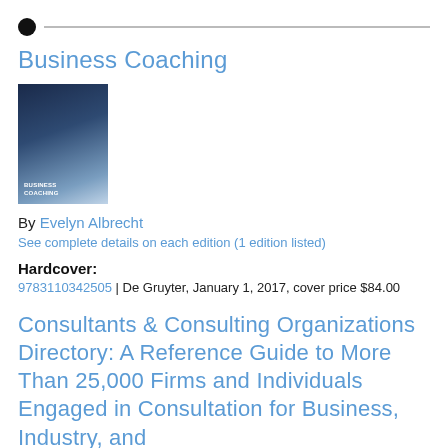●  ────────────────────────────────────
Business Coaching
[Figure (photo): Book cover of 'Business Coaching' showing a figure on a snowy mountain landscape with dark blue tones]
By Evelyn Albrecht
See complete details on each edition (1 edition listed)
Hardcover:
9783110342505 | De Gruyter, January 1, 2017, cover price $84.00
Consultants & Consulting Organizations Directory: A Reference Guide to More Than 25,000 Firms and Individuals Engaged in Consultation for Business, Industry, and